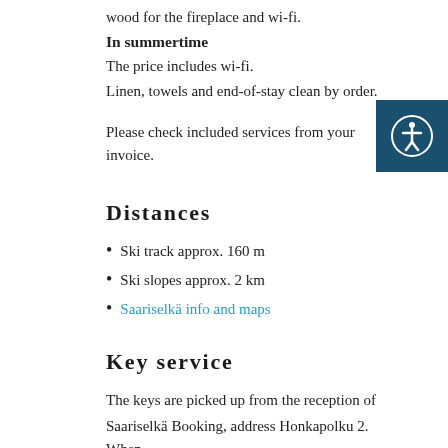wood for the fireplace and wi-fi.
In summertime
The price includes wi-fi.
Linen, towels and end-of-stay clean by order.
Please check included services from your invoice.
Distances
Ski track approx. 160 m
Ski slopes approx. 2 km
Saariselkä info and maps
Key service
The keys are picked up from the reception of Saariselkä Booking, address Honkapolku 2. When